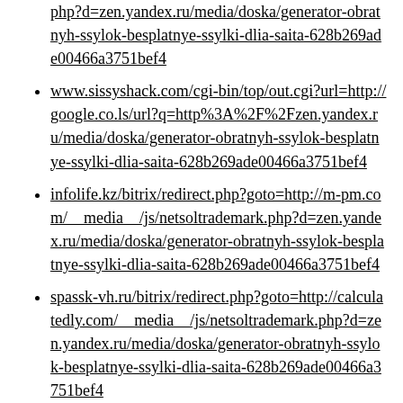php?d=zen.yandex.ru/media/doska/generator-obratnyh-ssylok-besplatnye-ssylki-dlia-saita-628b269ade00466a3751bef4
www.sissyshack.com/cgi-bin/top/out.cgi?url=http://google.co.ls/url?q=http%3A%2F%2Fzen.yandex.ru/media/doska/generator-obratnyh-ssylok-besplatnye-ssylki-dlia-saita-628b269ade00466a3751bef4
infolife.kz/bitrix/redirect.php?goto=http://m-pm.com/__media__/js/netsoltrademark.php?d=zen.yandex.ru/media/doska/generator-obratnyh-ssylok-besplatnye-ssylki-dlia-saita-628b269ade00466a3751bef4
spassk-vh.ru/bitrix/redirect.php?goto=http://calculatedly.com/__media__/js/netsoltrademark.php?d=zen.yandex.ru/media/doska/generator-obratnyh-ssylok-besplatnye-ssylki-dlia-saita-628b269ade00466a3751bef4